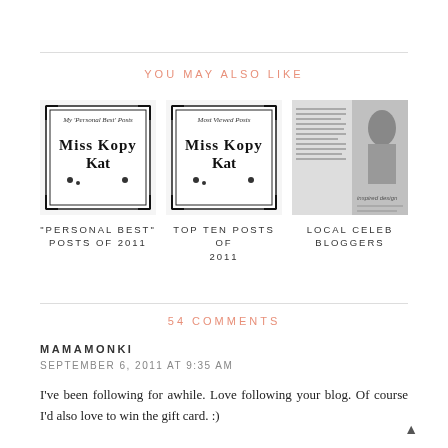YOU MAY ALSO LIKE
[Figure (illustration): Miss Kopy Kat logo with decorative border — 'My Personal Best Posts']
"PERSONAL BEST" POSTS OF 2011
[Figure (illustration): Miss Kopy Kat logo with decorative border — 'Most Viewed Posts']
TOP TEN POSTS OF 2011
[Figure (photo): Black and white newspaper photo showing a couple with text 'inspired design']
LOCAL CELEB BLOGGERS
54 COMMENTS
MAMAMONKI
SEPTEMBER 6, 2011 AT 9:35 AM
I've been following for awhile. Love following your blog. Of course I'd also love to win the gift card. :)